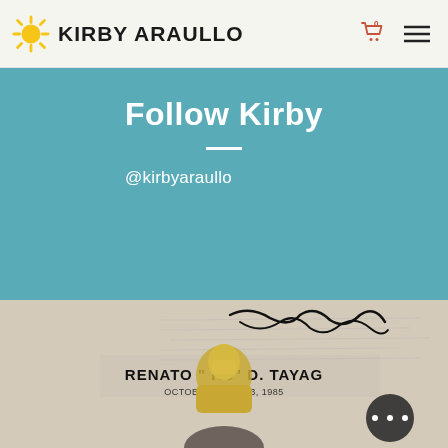KIRBY ARAULLO
Follow Kirby
@kirbyaraullo
[Figure (photo): Photo showing a golden bust/statue of Renato 'KS' D. Tayag with a plaque reading 'RENATO "...KS" D. TAYAG OCTOBER ... GUST 13, 1985', with a handwritten signature above, and a person visible at bottom. A dark circular button with three dots appears in the lower right.]